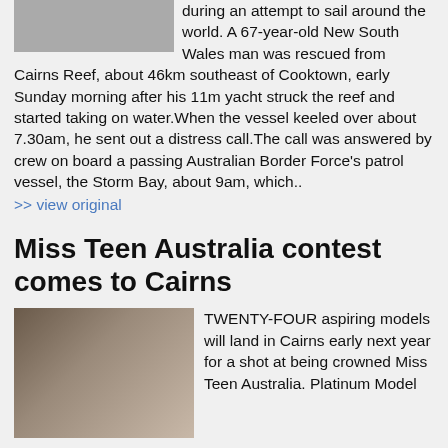[Figure (photo): Partial image at top of page, likely showing water or reef scene]
during an attempt to sail around the world. A 67-year-old New South Wales man was rescued from Cairns Reef, about 46km southeast of Cooktown, early Sunday morning after his 11m yacht struck the reef and started taking on water.When the vessel keeled over about 7.30am, he sent out a distress call.The call was answered by crew on board a passing Australian Border Force's patrol vessel, the Storm Bay, about 9am, which..
>> view original
Miss Teen Australia contest comes to Cairns
[Figure (photo): Two young women posing, aspiring models for Miss Teen Australia contest]
TWENTY-FOUR aspiring models will land in Cairns early next year for a shot at being crowned Miss Teen Australia. Platinum Model